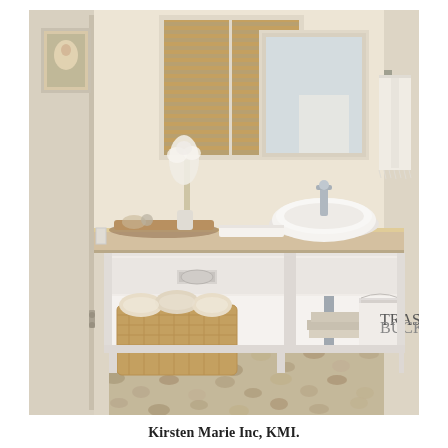[Figure (photo): Interior bathroom photo showing a white open-shelf vanity with a vessel sink, warm wood countertop, a wicker basket with rolled towels, a trash bucket labeled TRASH, magazines, floral arrangement, and pebble tile floor. Window with bamboo shade in background, framed mirror above sink.]
Kirsten Marie Inc, KMI.